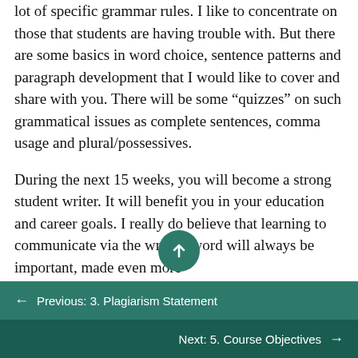lot of specific grammar rules. I like to concentrate on those that students are having trouble with. But there are some basics in word choice, sentence patterns and paragraph development that I would like to cover and share with you. There will be some “quizzes” on such grammatical issues as complete sentences, comma usage and plural/possessives.
During the next 15 weeks, you will become a strong student writer. It will benefit you in your education and career goals. I really do believe that learning to communicate via the written word will always be important, made even more
Previous: 3. Plagiarism Statement
Next: 5. Course Objectives